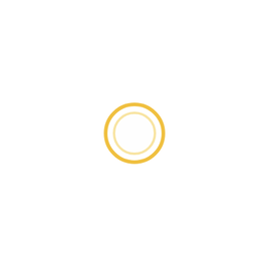[Figure (other): A circular loading spinner or ring icon centered on the page, rendered in golden/yellow color (#f0c040 or similar). It consists of two concentric circles with a thick ring stroke, giving the appearance of a donut or spinner symbol. The background is white.]